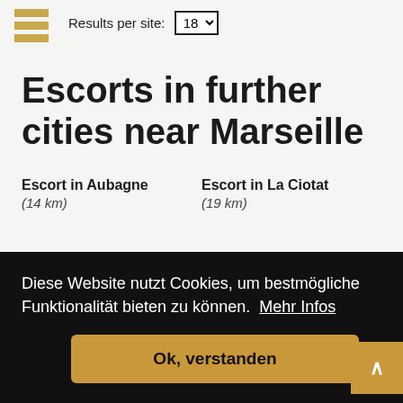Results per site: 18
Escorts in further cities near Marseille
Escort in Aubagne
(14 km)
Escort in La Ciotat
(19 km)
nce
Diese Website nutzt Cookies, um bestmögliche Funktionalität bieten zu können.  Mehr Infos
Ok, verstanden